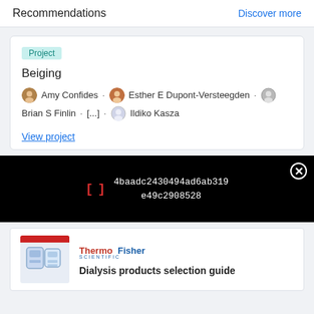Recommendations
Discover more
Project
Beiging
Amy Confides · Esther E Dupont-Versteegden · Brian S Finlin · [...] · Ildiko Kasza
View project
[Figure (screenshot): Black overlay bar with red bracket icon and hash string: 4baadc2430494ad6ab319e49c2908528, with a close (X) button]
[Figure (logo): ThermoFisher Scientific logo in red and blue text]
Dialysis products selection guide